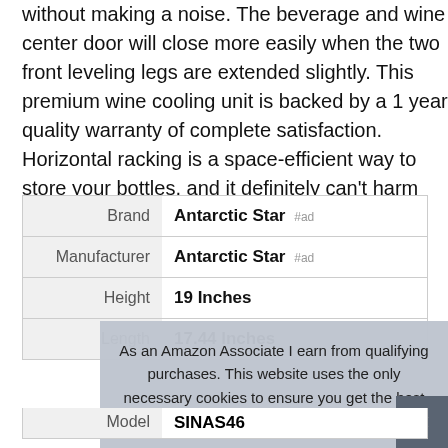without making a noise. The beverage and wine center door will close more easily when the two front leveling legs are extended slightly. This premium wine cooling unit is backed by a 1 year quality warranty of complete satisfaction. Horizontal racking is a space-efficient way to store your bottles, and it definitely can't harm your wines.
|  |  |
| --- | --- |
| Brand | Antarctic Star #ad |
| Manufacturer | Antarctic Star #ad |
| Height | 19 Inches |
| Length | 17.44 Inches |
As an Amazon Associate I earn from qualifying purchases. This website uses the only necessary cookies to ensure you get the best experience on our website. More information
|  |  |
| --- | --- |
| Model | SINAS46 |